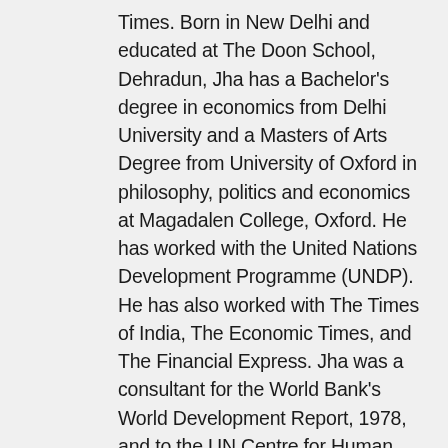Times. Born in New Delhi and educated at The Doon School, Dehradun, Jha has a Bachelor's degree in economics from Delhi University and a Masters of Arts Degree from University of Oxford in philosophy, politics and economics at Magadalen College, Oxford. He has worked with the United Nations Development Programme (UNDP). He has also worked with The Times of India, The Economic Times, and The Financial Express. Jha was a consultant for the World Bank's World Development Report, 1978, and to the UN Centre for Human Settlements, Nairobi ( Habitat). He has co-authored a Manual for the Asia and Pacific Development Administration